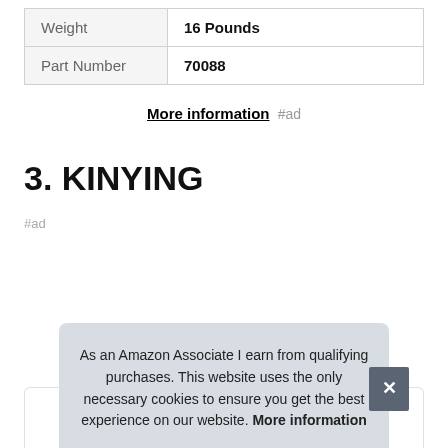| Weight | 16 Pounds |
| Part Number | 70088 |
More information #ad
3. KINYING
#ad
As an Amazon Associate I earn from qualifying purchases. This website uses the only necessary cookies to ensure you get the best experience on our website. More information